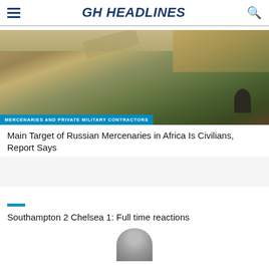GH HEADLINES
[Figure (photo): Aerial or outdoor scene with arid landscape, dry trees, vegetation, and a person visible at lower right. A helicopter or aircraft element is partially visible at top.]
MERCENARIES AND PRIVATE MILITARY CONTRACTORS
Main Target of Russian Mercenaries in Africa Is Civilians, Report Says
Southampton 2 Chelsea 1: Full time reactions
[Figure (photo): Partial view of a person's head/face at the bottom of the page.]